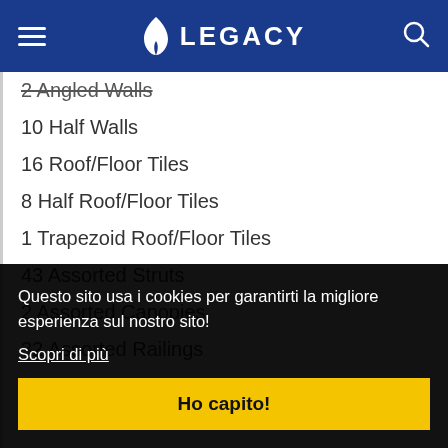LEGACY
2 Angled Walls
10 Half Walls
16 Roof/Floor Tiles
8 Half Roof/Floor Tiles
1 Trapezoid Roof/Floor Tiles
43 Assorted Struts
2 Assorted Canopies
32 Assorted Railings
4 Staircases
1
9
7
3
1
12
Questo sito usa i cookies per garantirti la migliore esperienza sul nostro sito! Scopri di più
Ho capito!